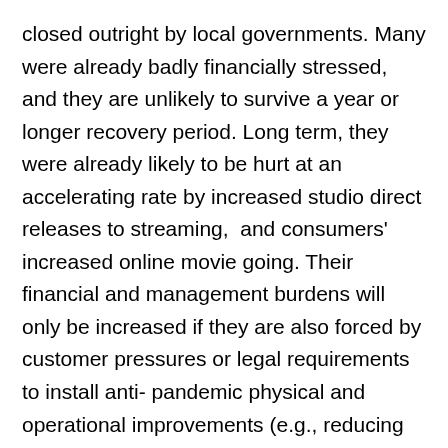closed outright by local governments. Many were already badly financially stressed,  and they are unlikely to survive a year or longer recovery period. Long term, they were already likely to be hurt at an accelerating rate by increased studio direct releases to streaming,  and consumers' increased online movie going. Their financial and management burdens will only be increased if they are also forced by customer pressures or legal requirements to install anti- pandemic physical and operational improvements (e.g., reducing seating so they are 6 ft from each other, better air filtration, taking patrons' temperatures, more frequent and more thorough cleaning, customer spacing on entry and egress).
Any downtown EDO that wants to keep its movie theaters should look at the toolbox of programs that was developed